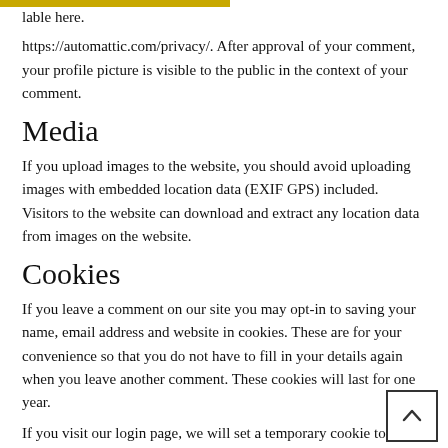lable here.
https://automattic.com/privacy/. After approval of your comment, your profile picture is visible to the public in the context of your comment.
Media
If you upload images to the website, you should avoid uploading images with embedded location data (EXIF GPS) included. Visitors to the website can download and extract any location data from images on the website.
Cookies
If you leave a comment on our site you may opt-in to saving your name, email address and website in cookies. These are for your convenience so that you do not have to fill in your details again when you leave another comment. These cookies will last for one year.
If you visit our login page, we will set a temporary cookie to determine your browser accepts cookies. This cookie contains no personal data and is